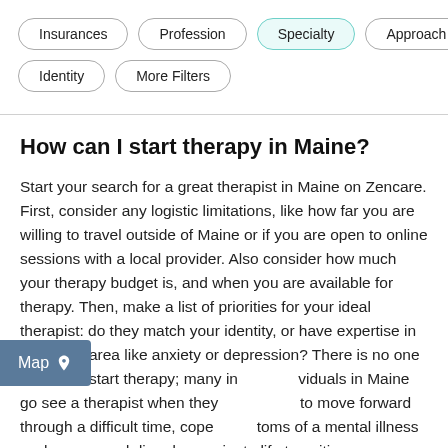[Figure (screenshot): Filter pill buttons: Insurances, Profession, Specialty (active/highlighted in teal), Approach, Identity, More Filters]
How can I start therapy in Maine?
Start your search for a great therapist in Maine on Zencare. First, consider any logistic limitations, like how far you are willing to travel outside of Maine or if you are open to online sessions with a local provider. Also consider how much your therapy budget is, and when you are available for therapy. Then, make a list of priorities for your ideal therapist: do they match your identity, or have expertise in a specific area like anxiety or depression? There is no one reason to start therapy; many individuals in Maine go see a therapist when they to move forward through a difficult time, cope toms of a mental illness such as a mood disorder, navigate life transitions, process relationship